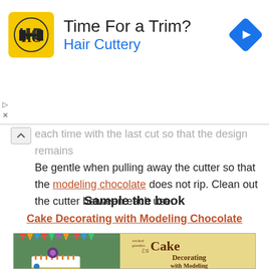[Figure (infographic): Hair Cuttery advertisement banner with logo, headline 'Time For a Trim?', brand name 'Hair Cuttery', and a blue navigation arrow icon]
each time with the last cut so that the design remains Be gentle when pulling away the cutter so that the modeling chocolate does not rip. Clean out the cutter between each use.
Sample the book
Cake Decorating with Modeling Chocolate
[Figure (photo): Book cover of 'Cake Decorating with Modeling Chocolate' by Wicked Goodies, showing a decorated cake with flowers on the left side and the book title in chocolate-brown lettering on a parchment-colored background on the right side]